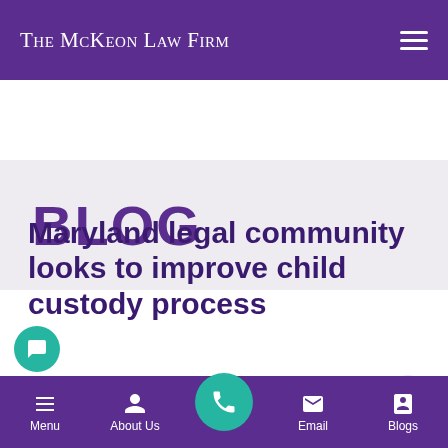The McKeon Law Firm
BLOG
Maryland legal community looks to improve child custody process
By The McKeon Law...
Menu | About Us | [Call] | Email | Blogs